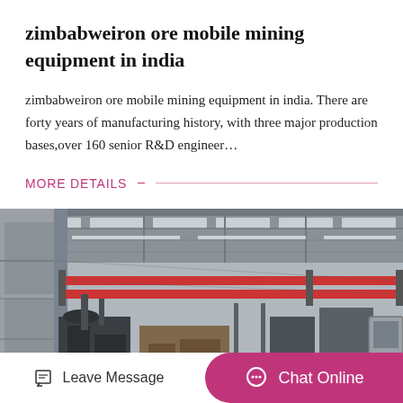zimbabweiron ore mobile mining equipment in india
zimbabweiron ore mobile mining equipment in india. There are forty years of manufacturing history, with three major production bases,over 160 senior R&D engineer…
MORE DETAILS
[Figure (photo): Interior of a large industrial factory/warehouse showing machinery, overhead cranes with red rails, steel structural framework, and manufacturing equipment on the floor.]
Leave Message
Chat Online